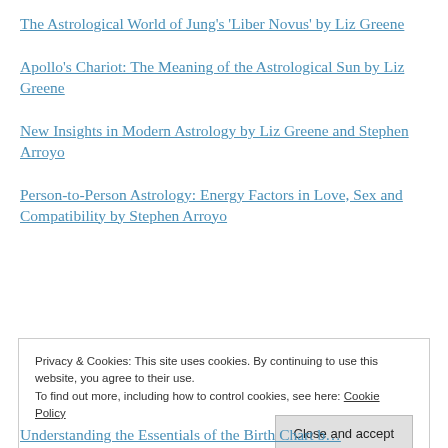The Astrological World of Jung's 'Liber Novus' by Liz Greene
Apollo's Chariot: The Meaning of the Astrological Sun by Liz Greene
New Insights in Modern Astrology by Liz Greene and Stephen Arroyo
Person-to-Person Astrology: Energy Factors in Love, Sex and Compatibility by Stephen Arroyo
Privacy & Cookies: This site uses cookies. By continuing to use this website, you agree to their use. To find out more, including how to control cookies, see here: Cookie Policy
Understanding the Essentials of the Birth Chart b…